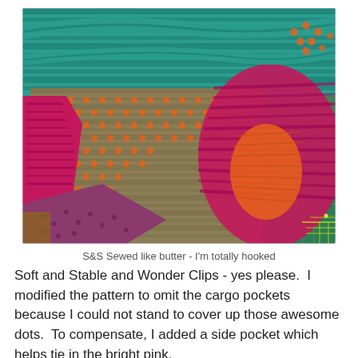[Figure (photo): Close-up photograph of colorful fabric pieces on a green cutting mat. Fabrics include teal/blue striped material, olive/khaki fabric with orange polka dots, magenta/pink striped fabric, and orange fabric. The materials appear to be Soft and Stable interfacing being sewn together, with Wonder Clips visible.]
S&S Sewed like butter - I'm totally hooked
Soft and Stable and Wonder Clips - yes please.  I modified the pattern to omit the cargo pockets because I could not stand to cover up those awesome dots.  To compensate, I added a side pocket which helps tie in the bright pink.